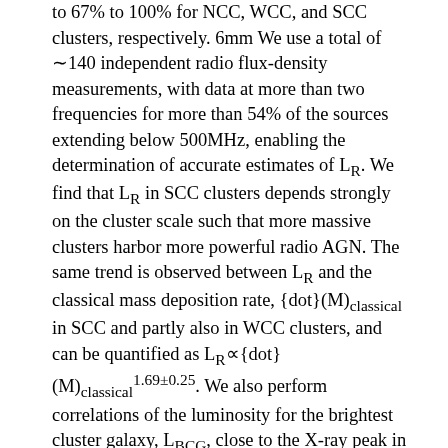to 67% to 100% for NCC, WCC, and SCC clusters, respectively. 6mm We use a total of ~140 independent radio flux-density measurements, with data at more than two frequencies for more than 54% of the sources extending below 500MHz, enabling the determination of accurate estimates of L_R. We find that L_R in SCC clusters depends strongly on the cluster scale such that more massive clusters harbor more powerful radio AGN. The same trend is observed between L_R and the classical mass deposition rate, {dot}(M)_classical in SCC and partly also in WCC clusters, and can be quantified as L_R∝{dot}(M)_classical^{1.69±0.25}. We also perform correlations of the luminosity for the brightest cluster galaxy, L_BCG, close to the X-ray peak in all 64 clusters with L_R and cluster parameters, such as the virial mass, M_500, and the bolometric X-ray luminosity, L_X. To this end, we use the 2MASS K-band magnitudes and invoke the near-infrared bulge luminosity-black hole mass relation to convert L_BCG to supermassive black hole mass, M_BH. We find a weak correlation between M_BH and L_R for SCC clusters.